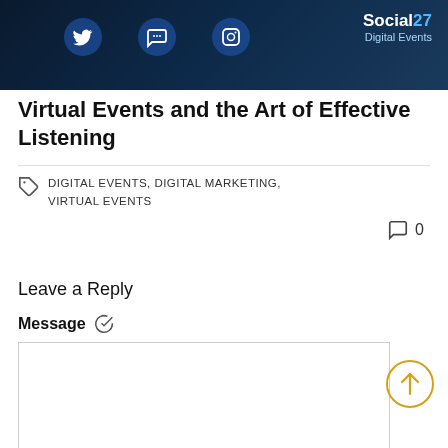[Figure (screenshot): Dark banner image with social media icons (Twitter/chat bubbles) and 'Social 27 Digital Events' logo in top right corner]
Virtual Events and the Art of Effective Listening
DIGITAL EVENTS, DIGITAL MARKETING, VIRTUAL EVENTS
0 comments
Leave a Reply
Message